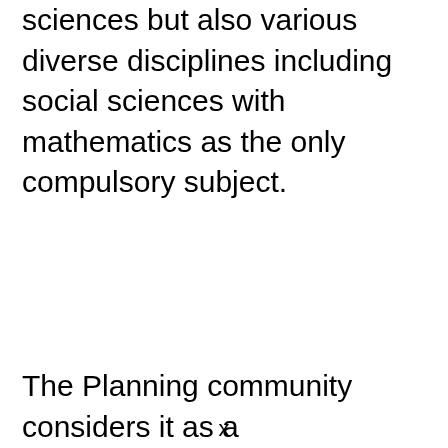sciences but also various diverse disciplines including social sciences with mathematics as the only compulsory subject.
The Planning community considers it as a
x